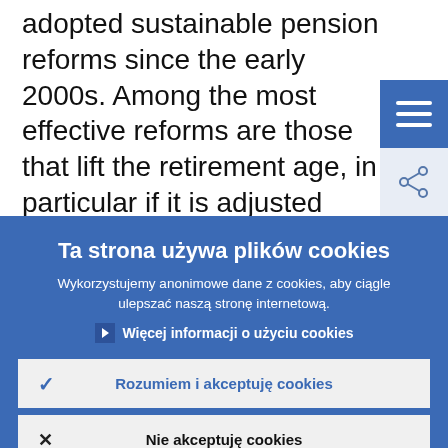adopted sustainable pension reforms since the early 2000s. Among the most effective reforms are those that lift the retirement age, in particular if it is adjusted automatically to changes in life expectancy (Carone et al., 2016). More recently,
[Figure (screenshot): Cookie consent overlay with title 'Ta strona używa plików cookies', description text, link 'Więcej informacji o użyciu cookies', and two buttons: 'Rozumiem i akceptuję cookies' and 'Nie akceptuję cookies']